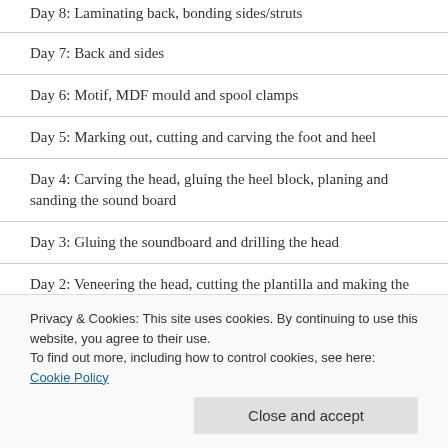Day 8: Laminating back, bonding sides/struts
Day 7: Back and sides
Day 6: Motif, MDF mould and spool clamps
Day 5: Marking out, cutting and carving the foot and heel
Day 4: Carving the head, gluing the heel block, planing and sanding the sound board
Day 3: Gluing the soundboard and drilling the head
Day 2: Veneering the head, cutting the plantilla and making the solera
Privacy & Cookies: This site uses cookies. By continuing to use this website, you agree to their use.
To find out more, including how to control cookies, see here: Cookie Policy
Close and accept